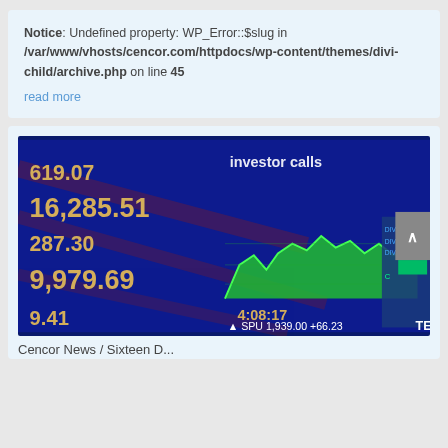Notice: Undefined property: WP_Error::$slug in /var/www/vhosts/cencor.com/httpdocs/wp-content/themes/divi-child/archive.php on line 45
read more
[Figure (photo): Stock market ticker board showing financial numbers: 619.07, 16,285.51, 287.30, 9,979.69, 9.41, with a green area chart visible, timestamp 4:08:17, SPU 1,939.00, and text 'investor calls' visible. Blue/dark background with yellow/gold numbers.]
Cencor News / Sixteen D...